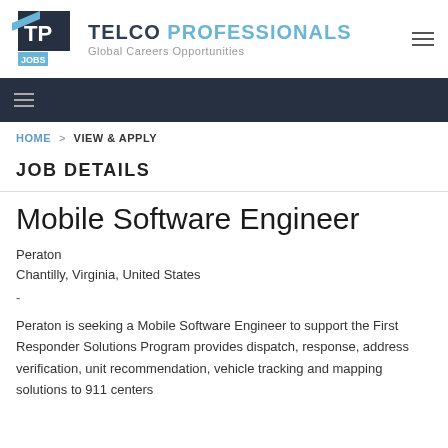TELCO PROFESSIONALS — Global Careers Opportunities
HOME > VIEW & APPLY
JOB DETAILS
Mobile Software Engineer
Peraton
Chantilly, Virginia, United States
-
Peraton is seeking a Mobile Software Engineer to support the First Responder Solutions Program provides dispatch, response, address verification, unit recommendation, vehicle tracking and mapping solutions to 911 centers